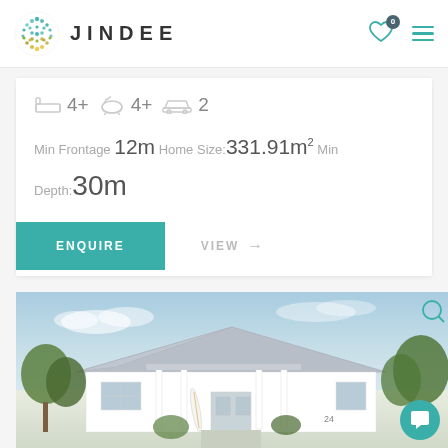JINDEE
4+  4+  2
Min Frontage 12m Home Size: 331.91m2 Min Depth: 30m
ENQUIRE
VIEW →
[Figure (photo): Exterior rendering of a white single-storey house with grey hip roof, white columns, and a surfboard near the front door, surrounded by trees and blue sky]